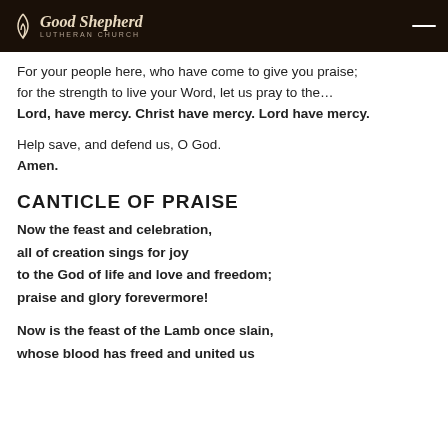Good Shepherd Lutheran Church
For your people here, who have come to give you praise; for the strength to live your Word, let us pray to the…
Lord, have mercy. Christ have mercy. Lord have mercy.
Help save, and defend us, O God.
Amen.
CANTICLE OF PRAISE
Now the feast and celebration,
all of creation sings for joy
to the God of life and love and freedom;
praise and glory forevermore!
Now is the feast of the Lamb once slain,
whose blood has freed and united us